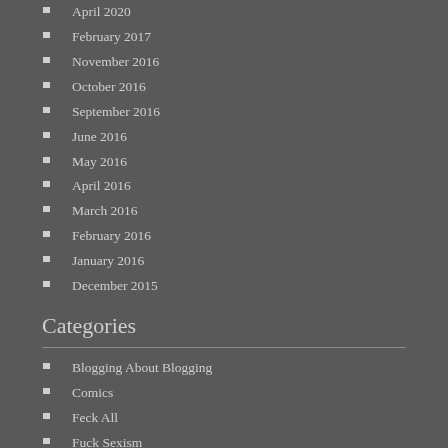April 2020
February 2017
November 2016
October 2016
September 2016
June 2016
May 2016
April 2016
March 2016
February 2016
January 2016
December 2015
Categories
Blogging About Blogging
Comics
Feck All
Fuck Sexism
Geekery
Hypochondria Ask Me How!
KELLI!
Life is a Bowl Full of Aconite!
Nerdy Corruption
Not a Real Post